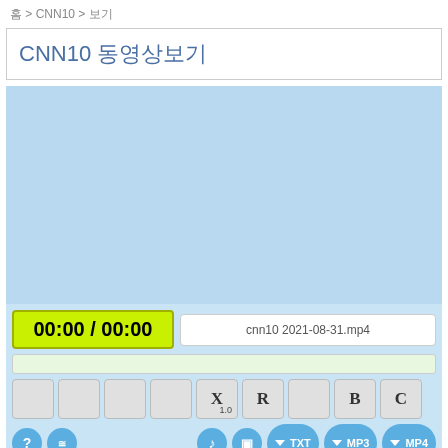홈 > CNN10 > 보기
CNN10 동영상보기
[Figure (screenshot): Light blue video player area placeholder]
00:00 / 00:00
cnn10 2021-08-31.mp4
X 1.0  R  B  C  (playback control buttons)
?  목록  볼륨  프레임  ▼TXT  ▼MP3  ▼MP4  (bottom icon buttons)